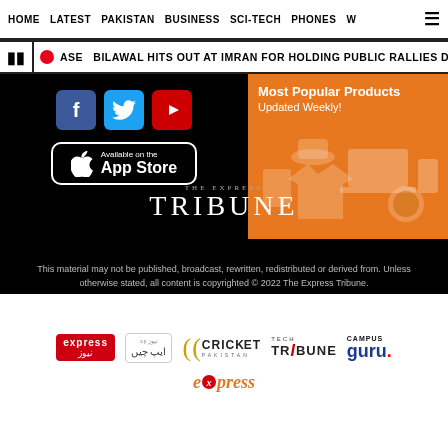HOME  LATEST  PAKISTAN  BUSINESS  SCI-TECH  PHONES  W
BILAWAL HITS OUT AT IMRAN FOR HOLDING PUBLIC RALLIES DESPITE FLOO
[Figure (screenshot): Social media buttons: Facebook, Twitter, YouTube; App Store download button; Orange advertisement banner for Most Popular Products Updated Weekly with product icons]
[Figure (logo): THE EXPRESS TRIBUNE logo in white on black background]
This material may not be published, broadcast, rewritten, redistributed or derived from. Unless otherwise stated, all content is copyrighted © 2022 The Express Tribune.
[Figure (logo): Express News logo (red background with white text)]
[Figure (logo): Apnews / Apchayen logo]
[Figure (logo): Cricket Pakistan logo]
[Figure (logo): Tech Tribune logo]
[Figure (logo): Campus Guru logo]
[Figure (logo): Express (orange italic) logo]